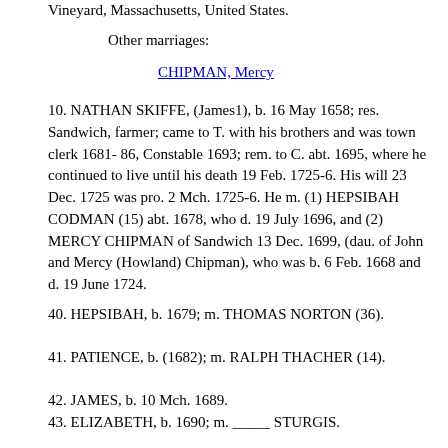Vineyard, Massachusetts, United States.
Other marriages:
CHIPMAN, Mercy
10. NATHAN SKIFFE, (James1), b. 16 May 1658; res. Sandwich, farmer; came to T. with his brothers and was town clerk 1681- 86, Constable 1693; rem. to C. abt. 1695, where he continued to live until his death 19 Feb. 1725-6. His will 23 Dec. 1725 was pro. 2 Mch. 1725-6. He m. (1) HEPSIBAH CODMAN (15) abt. 1678, who d. 19 July 1696, and (2) MERCY CHIPMAN of Sandwich 13 Dec. 1699, (dau. of John and Mercy (Howland) Chipman), who was b. 6 Feb. 1668 and d. 19 June 1724.
40. HEPSIBAH, b. 1679; m. THOMAS NORTON (36).
41. PATIENCE, b. (1682); m. RALPH THACHER (14).
42. JAMES, b. 10 Mch. 1689.
43. ELIZABETH, b. 1690; m. _____ STURGIS.
44. BENJAMIN, b. 29 April 1691.
45. STEPHEN, b. 26 May 1693, rem. to Tolland